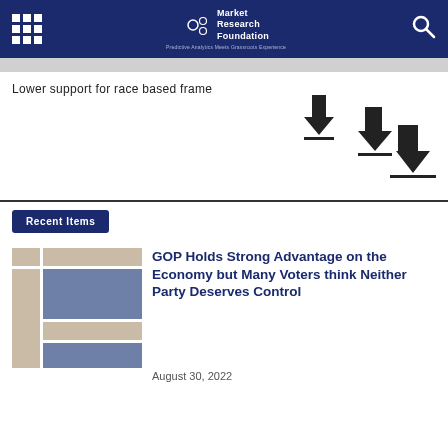Market Research Foundation — Predictive Analytics Meets Grassroots Experience
Lower support for race based frame
[Figure (infographic): Three downward arrows of increasing size, each with a horizontal line beneath, arranged diagonally from upper-left to lower-right]
Recent Items
[Figure (illustration): Thumbnail placeholder image with tan and steel-blue colored blocks arranged in a grid pattern]
GOP Holds Strong Advantage on the Economy but Many Voters think Neither Party Deserves Control
August 30, 2022